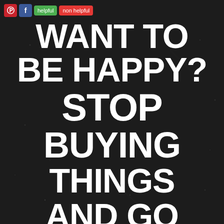[Figure (infographic): Dark textured black background with white bold serif text reading 'WANT TO BE HAPPY? STOP BUYING THINGS AND GO' with social media buttons (Pinterest, Facebook) and helpful/non-helpful rating buttons at the top left]
WANT TO BE HAPPY? STOP BUYING THINGS AND GO